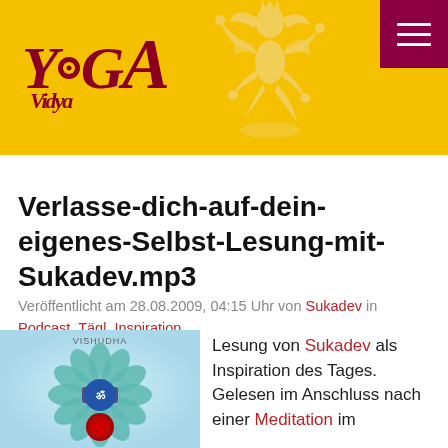Yoga Vidya [header banner with logo and dancing Shiva illustration]
Verlasse-dich-auf-dein-eigenes-Selbst-Lesung-mit-Sukadev.mp3
Veröffentlicht am 28.08.2009, 04:15 Uhr von Sukadev in Podcast, Tägl. Inspiration
[Figure (illustration): Colorful mandala/chakra illustration with lotus petals, blue gems, red circular base, labeled VISHUDHA at top]
Lesung von Sukadev als Inspiration des Tages. Gelesen im Anschluss nach einer Meditation im